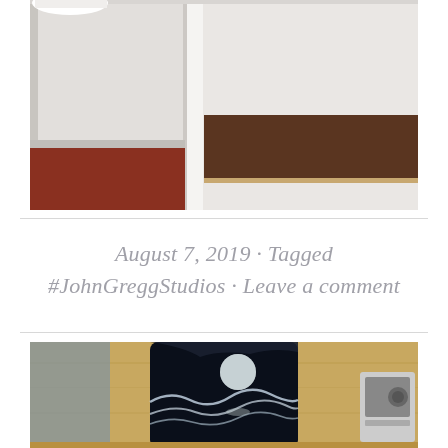[Figure (photo): Interior room corner photo showing red/dark floor, white walls, a white door frame, and a dark brown baseboard panel along the right wall.]
August 7, 2019 · Tagged #JohnGreggStudios · Leave a comment
[Figure (photo): Close-up photo of a decorative ceramic or glass vessel painted with a dark night ocean scene featuring a full moon and waves, sitting on a wooden surface with a small radio visible on the right.]